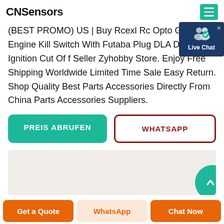CNSensors
(BEST PROMO) US | Buy Rcexl Rc Opto Gas Engine Kill Switch With Futaba Plug DLA DLE DA Ignition Cut Off Seller Zyhobby Store. Enjoy Free Shipping Worldwide Limited Time Sale Easy Return. Shop Quality Best Parts Accessories Directly From China Parts Accessories Suppliers.
[Figure (screenshot): Live Chat badge with user icon and blue background, with X close button]
PREIS ABRUFEN
WHATSAPP
[Figure (photo): Product image preview area with light beige background and teal circle arrow button on right]
Get a Quote | WhatsApp | Chat Now